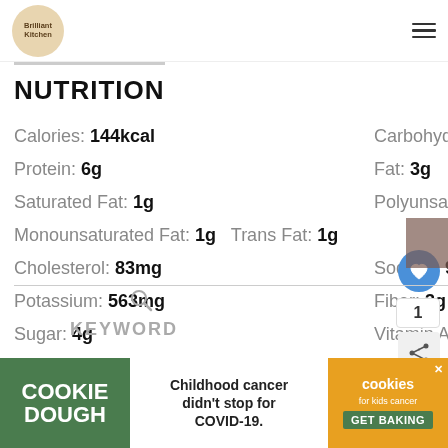Brilliant Kitchen — navigation header
NUTRITION
Calories: 144kcal   Carbohydrates: 25g
Protein: 6g   Fat: 3g
Saturated Fat: 1g   Polyunsaturated Fat: 1g
Monounsaturated Fat: 1g   Trans Fat: 1g
Cholesterol: 83mg   Sodium: 97mg
Potassium: 563mg   Fiber: 3g
Sugar: 4g   Vitamin A: 177IU
Vitamin C: 26mg   Calcium: 69mg
Iron: 1mg
KEYWORD
COOKIE DOUGH — Childhood cancer didn't stop for COVID-19. — cookies for kids cancer GET BAKING